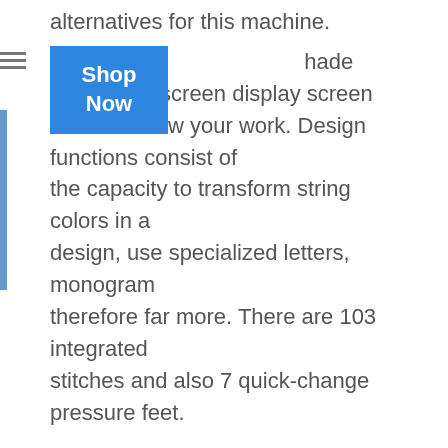alternatives for this machine.
It has a shade wise touch screen display screen w your work. Design functions consist of the capacity to transform string colors in a design, use specialized letters, monogram therefore far more. There are 103 integrated stitches and also 7 quick-change pressure feet.
[Figure (other): Blue 'Shop Now' button overlaid on text]
A brilliant workspace is included with an automated needle threader and also free-motion stitching is paramount to stitching, crafts, and also fashion. What is cool is the built-in tutorials that can be seen directly on the stitching machine's screen. Making customized